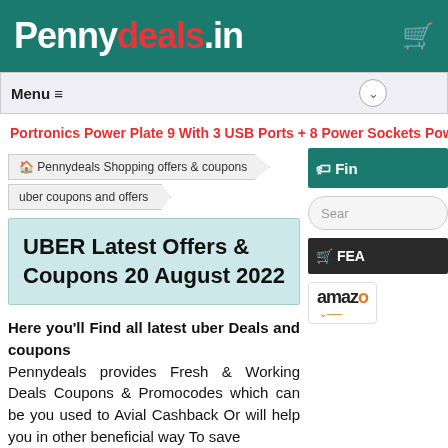Pennydeals.in
Menu ≡
Portronics Power Plate 9 With 3 USB Ports + 8 Power Sockets Power
🏠 Pennydeals Shopping offers & coupons
uber coupons and offers
UBER Latest Offers & Coupons 20 August 2022
Here you'll Find all latest uber Deals and coupons
Pennydeals provides Fresh & Working Deals Coupons & Promocodes which can be you used to Avial Cashback Or will help you in other beneficial way To save
🏷 Fin
Sear
🛒 FEA
amazon